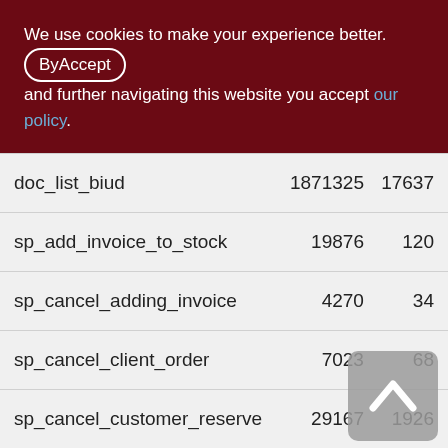We use cookies to make your experience better. By accepting and further navigating this website you accept our policy.
| Name | Col1 | Col2 |
| --- | --- | --- |
| doc_list_biud | 1871325 | 17637 |
| sp_add_invoice_to_stock | 19876 | 120 |
| sp_cancel_adding_invoice | 4270 | 34 |
| sp_cancel_client_order | 7023 | 68 |
| sp_cancel_customer_reserve | 29167 | 1926 |